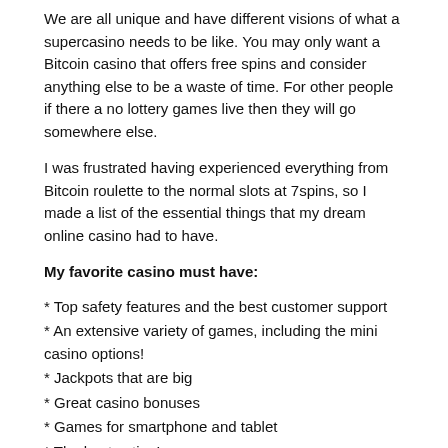We are all unique and have different visions of what a supercasino needs to be like. You may only want a Bitcoin casino that offers free spins and consider anything else to be a waste of time. For other people if there a no lottery games live then they will go somewhere else.
I was frustrated having experienced everything from Bitcoin roulette to the normal slots at 7spins, so I made a list of the essential things that my dream online casino had to have.
My favorite casino must have:
* Top safety features and the best customer support
* An extensive variety of games, including the mini casino options!
* Jackpots that are big
* Great casino bonuses
* Games for smartphone and tablet
* The best action!
I know that most reputable online casinos try to live up to these very points. But let me tell you, few score 100% on this test. At the end of the day there is one clear choice that you need to discover.
When I am at my supercasino, time really flies by very fast but